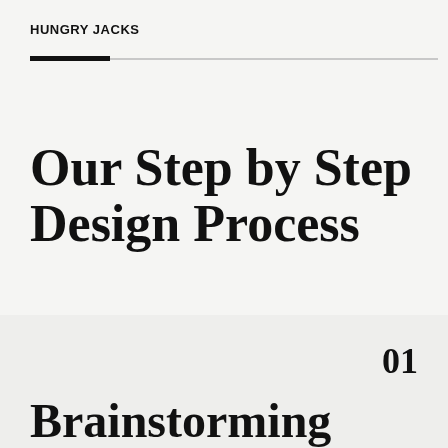HUNGRY JACKS
Our Step by Step Design Process
01
Brainstorming and